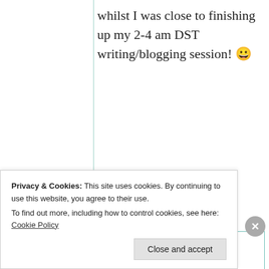whilst I was close to finishing up my 2-4 am DST writing/blogging session! 😀
★ Liked by 1 person
Suma Reddy
11th Jun 2021 at
Privacy & Cookies: This site uses cookies. By continuing to use this website, you agree to their use.
To find out more, including how to control cookies, see here: Cookie Policy
Close and accept